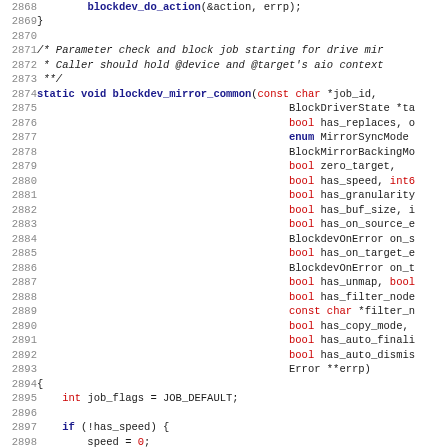[Figure (screenshot): Source code listing showing C function blockdev_mirror_common with line numbers 2868-2899, featuring syntax highlighting with blue keywords and red type names]